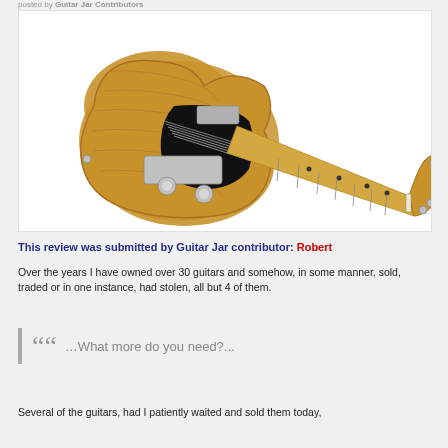posted by Guitar Jar Contributors
[Figure (photo): A Fender Telecaster electric guitar with a natural ash body, black pickguard, maple neck and fretboard, shown on a white background]
This review was submitted by Guitar Jar contributor: Robert
Over the years I have owned over 30 guitars and somehow, in some manner, sold, traded or in one instance, had stolen, all but 4 of them.
…What more do you need?...
Several of the guitars, had I patiently waited and sold them today,